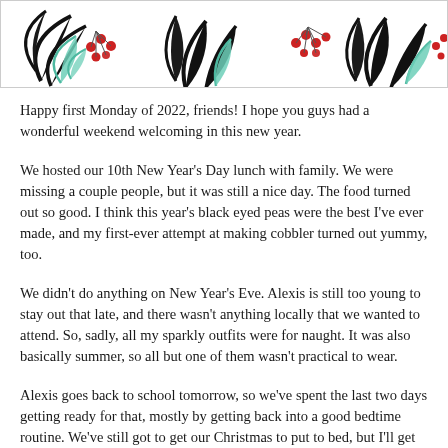[Figure (illustration): Decorative floral/botanical banner with black leaves, teal/mint leaves, and red berries on a white background]
Happy first Monday of 2022, friends! I hope you guys had a wonderful weekend welcoming in this new year.
We hosted our 10th New Year's Day lunch with family. We were missing a couple people, but it was still a nice day. The food turned out so good. I think this year's black eyed peas were the best I've ever made, and my first-ever attempt at making cobbler turned out yummy, too.
We didn't do anything on New Year's Eve. Alexis is still too young to stay out that late, and there wasn't anything locally that we wanted to attend. So, sadly, all my sparkly outfits were for naught. It was also basically summer, so all but one of them wasn't practical to wear.
Alexis goes back to school tomorrow, so we've spent the last two days getting ready for that, mostly by getting back into a good bedtime routine. We've still got to get our Christmas to put to bed, but I'll get to all in due course, and it's